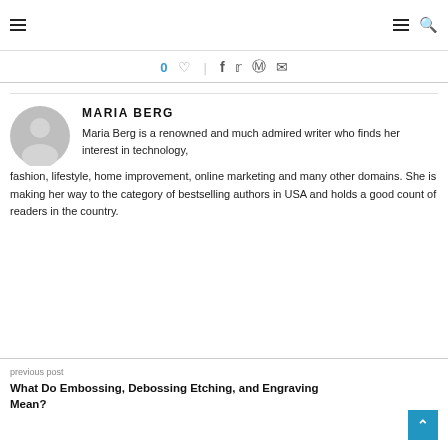≡  ≡ 🔍
0 ♡  |  f  𝕥  𝗣  ✉
MARIA BERG
Maria Berg is a renowned and much admired writer who finds her interest in technology, fashion, lifestyle, home improvement, online marketing and many other domains. She is making her way to the category of bestselling authors in USA and holds a good count of readers in the country.
previous post
What Do Embossing, Debossing Etching, and Engraving Mean?